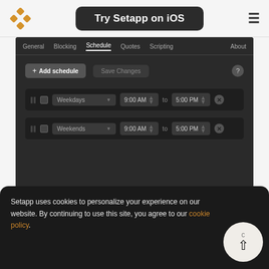[Figure (screenshot): Setapp website navigation bar with logo, 'Try Setapp on iOS' button, and hamburger menu]
[Figure (screenshot): App settings panel showing Schedule tab with two schedule rows: Weekdays 9:00 AM to 5:00 PM and Weekends 9:00 AM to 5:00 PM, with Add schedule and Save Changes buttons]
Setapp uses cookies to personalize your experience on our website. By continuing to use this site, you agree to our cookie policy.